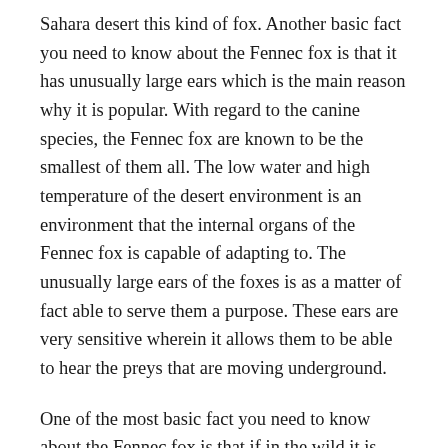Sahara desert this kind of fox. Another basic fact you need to know about the Fennec fox is that it has unusually large ears which is the main reason why it is popular. With regard to the canine species, the Fennec fox are known to be the smallest of them all. The low water and high temperature of the desert environment is an environment that the internal organs of the Fennec fox is capable of adapting to. The unusually large ears of the foxes is as a matter of fact able to serve them a purpose. These ears are very sensitive wherein it allows them to be able to hear the preys that are moving underground.
One of the most basic fact you need to know about the Fennec fox is that if in the wild it is able to live for up to twelve years. So that they will be able to have a habitat, they will just dig out sands. For you to tame the Fennec fox enough means that you can make this as your pet. You will therefore end up with a domestic